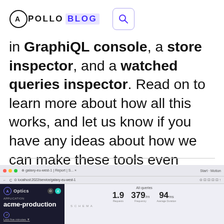APOLLO BLOG
in GraphiQL console, a store inspector, and a watched queries inspector. Read on to learn more about how all this works, and let us know if you have any ideas about how we can make these tools even better!
[Figure (screenshot): Browser screenshot showing Apollo Optics/Studio interface with acme-production service metrics: 1.9 Requests, 379 per frequency, 94 Average Duration, All queries panel visible.]